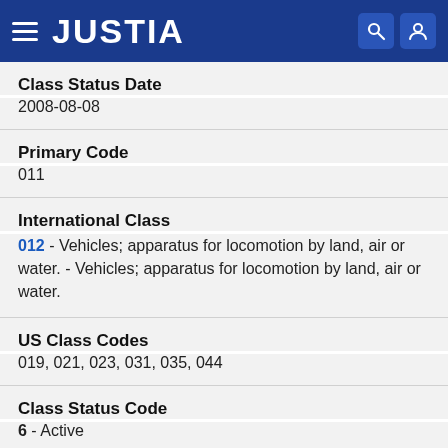JUSTIA
Class Status Date
2008-08-08
Primary Code
011
International Class
012 - Vehicles; apparatus for locomotion by land, air or water. - Vehicles; apparatus for locomotion by land, air or water.
US Class Codes
019, 021, 023, 031, 035, 044
Class Status Code
6 - Active